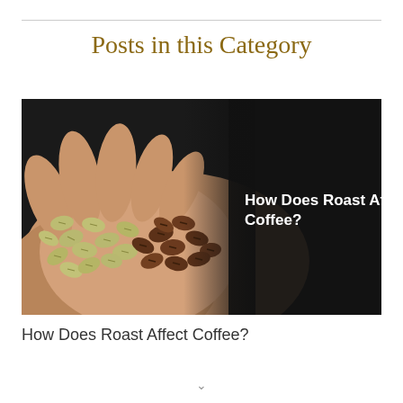Posts in this Category
[Figure (photo): Two hands cupped together holding a mix of green/unroasted coffee beans on the left and dark roasted coffee beans on the right, with text overlay on the dark right half reading 'How Does Roast Affect Coffee?' in white bold font on a black background.]
How Does Roast Affect Coffee?